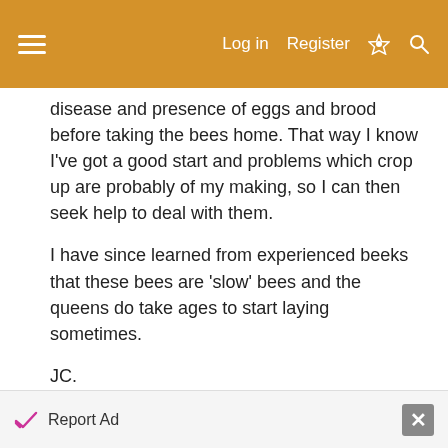Log in  Register
disease and presence of eggs and brood before taking the bees home. That way I know I've got a good start and problems which crop up are probably of my making, so I can then seek help to deal with them.

I have since learned from experienced beeks that these bees are 'slow' bees and the queens do take ages to start laying sometimes.

JC.
Jun 1, 2009  #3
Finman
Queen Bee
Report Ad